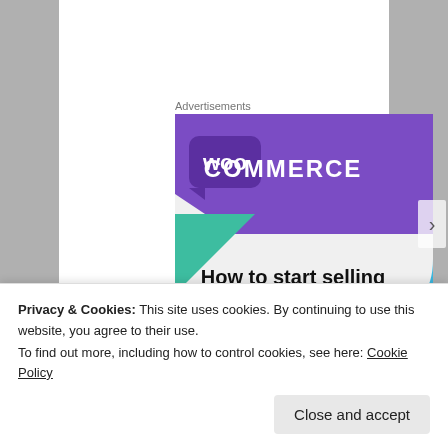Advertisements
[Figure (illustration): WooCommerce advertisement banner showing purple WooCommerce logo on purple background with teal and blue accent shapes, text reading 'How to start selling']
Heather Grace Mills is the Head of Stop Motion in
Privacy & Cookies: This site uses cookies. By continuing to use this website, you agree to their use.
To find out more, including how to control cookies, see here: Cookie Policy
Close and accept